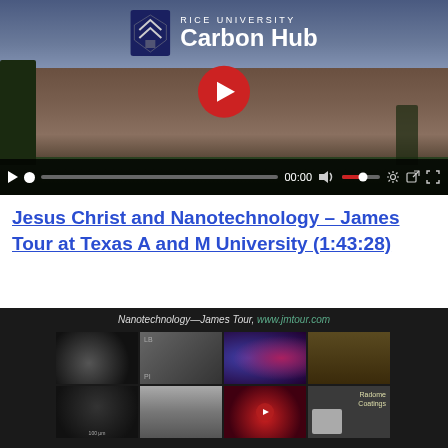[Figure (screenshot): Embedded video player showing Rice University Carbon Hub branding over an image of a university building. Controls bar at bottom with play button, progress bar, timestamp 00:00, volume, settings, and fullscreen icons.]
Jesus Christ and Nanotechnology – James Tour at Texas A and M University (1:43:28)
[Figure (screenshot): Thumbnail/preview of a second video titled 'Nanotechnology—James Tour, www.jmtour.com' showing a grid of science/nanotechnology images including microscope imagery, molecular visualizations, radome coatings, and other scientific images.]